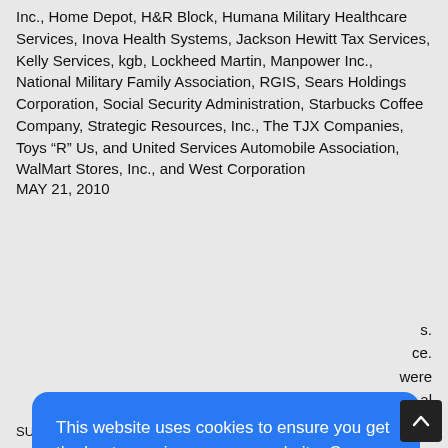Inc., Home Depot, H&R Block, Humana Military Healthcare Services, Inova Health Systems, Jackson Hewitt Tax Services, Kelly Services, kgb, Lockheed Martin, Manpower Inc., National Military Family Association, RGIS, Sears Holdings Corporation, Social Security Administration, Starbucks Coffee Company, Strategic Resources, Inc., The TJX Companies, Toys “R” Us, and United Services Automobile Association, WalMart Stores, Inc., and West Corporation
MAY 21, 2010
[Figure (screenshot): Cookie consent overlay with blue background. Text: 'This website uses cookies to ensure you get the best experience on our website. Our partners will collect data and use cookies for ad personalization and measurement.' Link: 'Learn how we and our partners collect and use data.' Button: 'OK']
SUBJECT #2 in the eye with an open hand. SUBJECT #2 exited the